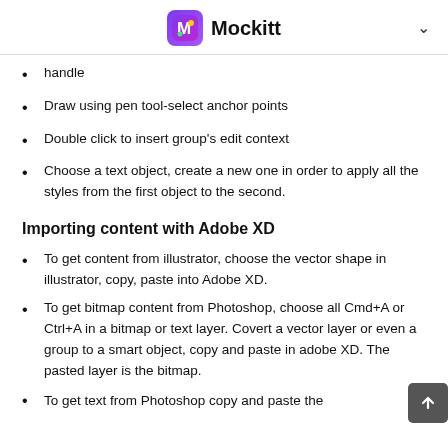Mockitt
handle
Draw using pen tool-select anchor points
Double click to insert group's edit context
Choose a text object, create a new one in order to apply all the styles from the first object to the second.
Importing content with Adobe XD
To get content from illustrator, choose the vector shape in illustrator, copy, paste into Adobe XD.
To get bitmap content from Photoshop, choose all Cmd+A or Ctrl+A in a bitmap or text layer. Covert a vector layer or even a group to a smart object, copy and paste in adobe XD. The pasted layer is the bitmap.
To get text from Photoshop copy and paste the...